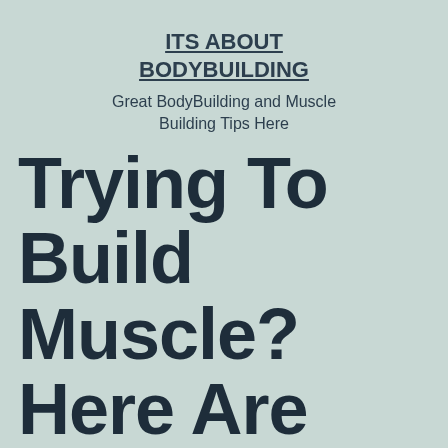ITS ABOUT BODYBUILDING
Great BodyBuilding and Muscle Building Tips Here
Trying To Build Muscle? Here Are